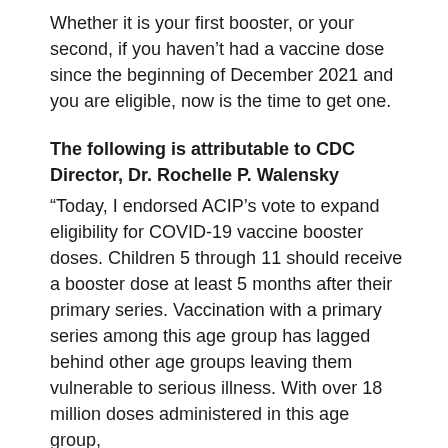Whether it is your first booster, or your second, if you haven't had a vaccine dose since the beginning of December 2021 and you are eligible, now is the time to get one.
The following is attributable to CDC Director, Dr. Rochelle P. Walensky
“Today, I endorsed ACIP’s vote to expand eligibility for COVID-19 vaccine booster doses. Children 5 through 11 should receive a booster dose at least 5 months after their primary series. Vaccination with a primary series among this age group has lagged behind other age groups leaving them vulnerable to serious illness. With over 18 million doses administered in this age group,